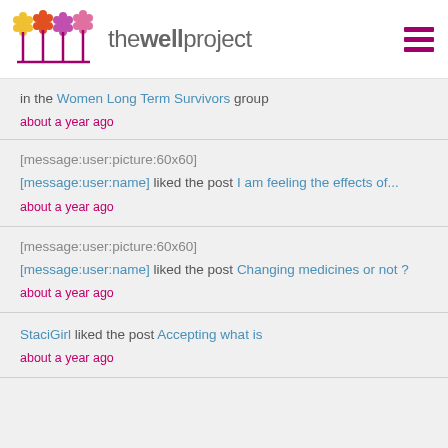thewellproject
in the Women Long Term Survivors group
about a year ago
[message:user:picture:60x60]
[message:user:name] liked the post I am feeling the effects of...
about a year ago
[message:user:picture:60x60]
[message:user:name] liked the post Changing medicines or not ?
about a year ago
StaciGirl liked the post Accepting what is
about a year ago